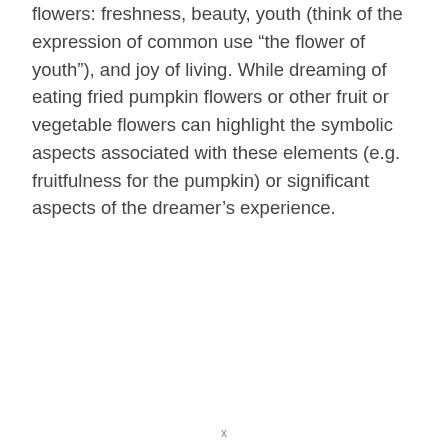flowers: freshness, beauty, youth (think of the expression of common use “the flower of youth”), and joy of living. While dreaming of eating fried pumpkin flowers or other fruit or vegetable flowers can highlight the symbolic aspects associated with these elements (e.g. fruitfulness for the pumpkin) or significant aspects of the dreamer’s experience.
x